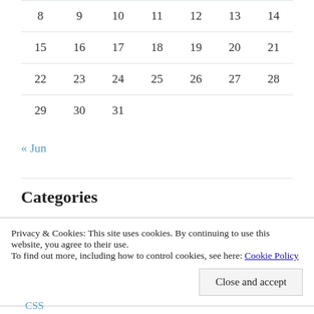|  |  |  |  |  |  |  |
| --- | --- | --- | --- | --- | --- | --- |
| 8 | 9 | 10 | 11 | 12 | 13 | 14 |
| 15 | 16 | 17 | 18 | 19 | 20 | 21 |
| 22 | 23 | 24 | 25 | 26 | 27 | 28 |
| 29 | 30 | 31 |  |  |  |  |
« Jun
Categories
Privacy & Cookies: This site uses cookies. By continuing to use this website, you agree to their use.
To find out more, including how to control cookies, see here: Cookie Policy
Close and accept
CSS